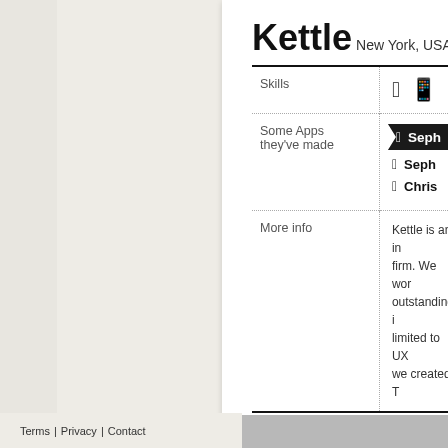Kettle
New York, USA • over $20k
|  |  |
| --- | --- |
| Skills | 🍎 🤖 |
| Some Apps they've made | Seph...
Seph...
Chris... |
| More info | Kettle is an in... firm. We work... outstanding i... limited to UX... we created T... |
Share this App Maker on:
Terms | Privacy | Contact